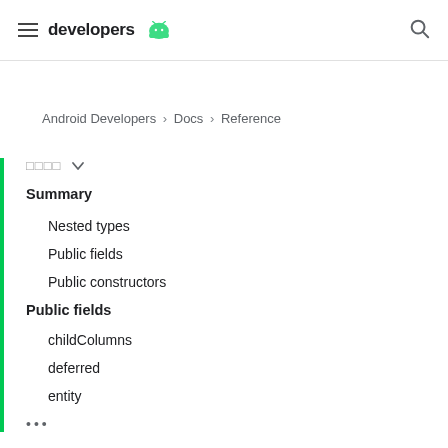developers [Android logo]
Android Developers > Docs > Reference
□□□□ ∨
Summary
Nested types
Public fields
Public constructors
Public fields
childColumns
deferred
entity
•••